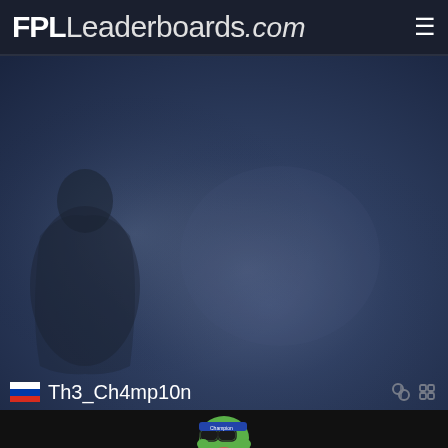FPLLeaderboards.com
[Figure (screenshot): Dark blue-grey gradient background with a shadowy silhouette figure visible on the left side]
Th3_Ch4mp10n
[Figure (photo): Pepe the frog meme image wearing sunglasses and a Champion brand headband, partially visible at bottom of page]